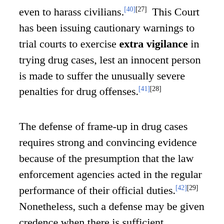even to harass civilians.[40][27]  This Court has been issuing cautionary warnings to trial courts to exercise extra vigilance in trying drug cases, lest an innocent person is made to suffer the unusually severe penalties for drug offenses.[41][28]
The defense of frame-up in drug cases requires strong and convincing evidence because of the presumption that the law enforcement agencies acted in the regular performance of their official duties.[42][29]  Nonetheless, such a defense may be given credence when there is sufficient evidence or proof making it to be very plausible or true.  We are of the view that accused-appellant's defenses of denial and frame-up are credible given the circumstances of the case.  Indeed, jurisprudence has